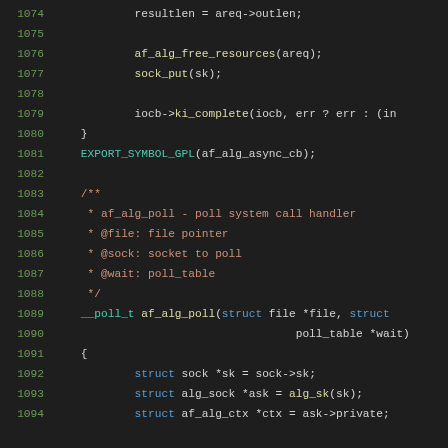[Figure (screenshot): Source code viewer showing C kernel code lines 1074-1094. Dark theme with syntax highlighting. Line numbers in green on left, code in various colors (white, blue, teal, tan) on right. Shows af_alg_async_cb function end and beginning of af_alg_poll function with documentation comment.]